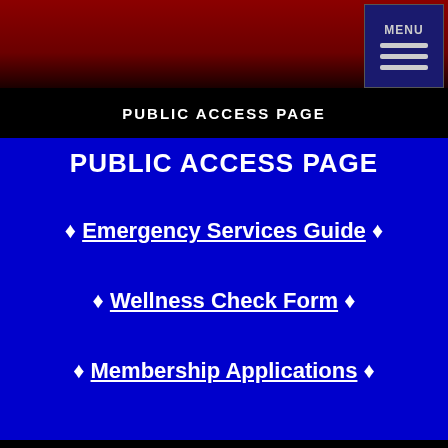MENU
PUBLIC ACCESS PAGE
PUBLIC ACCESS PAGE
♦ Emergency Services Guide ♦
♦ Wellness Check Form ♦
♦ Membership Applications ♦
UPCOMING EVENTS
[Figure (photo): Upcoming events graphic showing a calendar page with dates and 'upcoming EVENTS' text overlay on dark background]